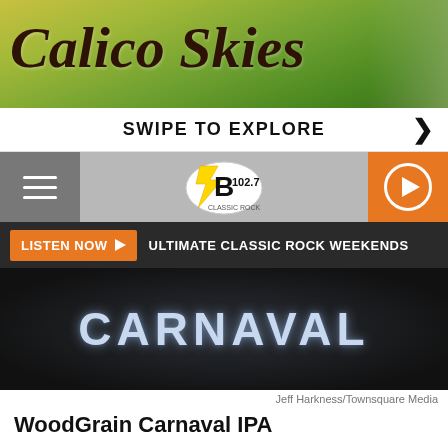[Figure (photo): Calico Skies banner/logo in cursive script on green/yellow background]
SWIPE TO EXPLORE ❯
[Figure (logo): B 102.7 radio station logo with hamburger menu and play button]
LISTEN NOW ▶ ULTIMATE CLASSIC ROCK WEEKENDS
[Figure (photo): Dark chalkboard sign with CARNAVAL written in light blue chalk letters]
Jeff Harkness/Townsquare Media
WoodGrain Carnaval IPA
Master of Opinion IPA with one pound of Carnaval Brazilian Grill's freshly roasted cinnamon pineapple per gallon of beer.
[Figure (photo): Beer glasses with dark beer and foam head on a table]